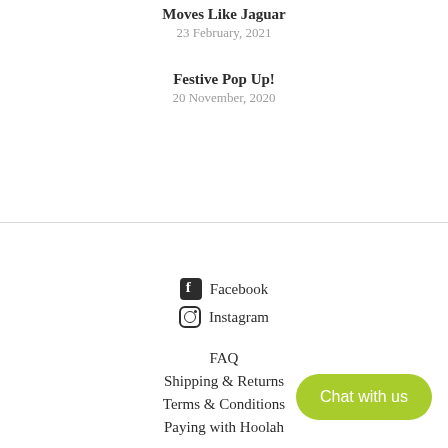Moves Like Jaguar
23 February, 2021
Festive Pop Up!
20 November, 2020
Facebook
Instagram
FAQ
Shipping & Returns
Terms & Conditions
Paying with Hoolah
Chat with us